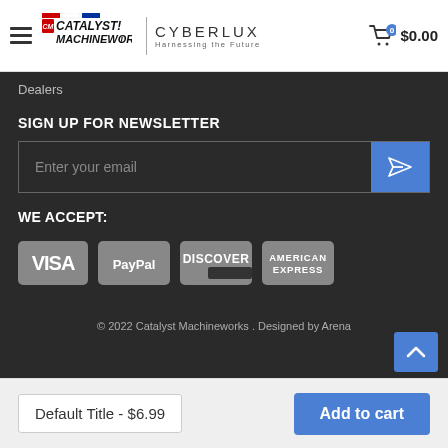Catalyst Machineworks | Cyberlux - Harnessing the Future  $0.00
Dealers
SIGN UP FOR NEWSLETTER
Enter your email
WE ACCEPT:
[Figure (other): Payment method logos: VISA, PayPal, Discover, American Express]
© 2022 Catalyst Machineworks . Designed by Arena
Default Title - $6.99
Add to cart